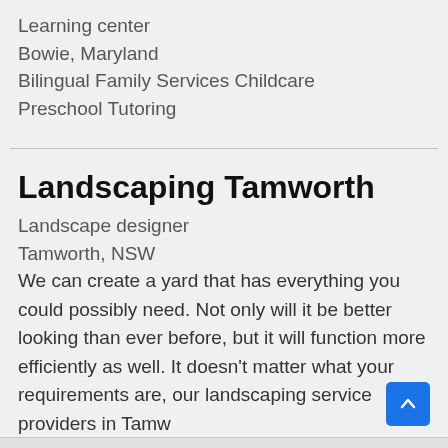Learning center
Bowie, Maryland
Bilingual Family Services Childcare
Preschool Tutoring
Landscaping Tamworth
Landscape designer
Tamworth, NSW
We can create a yard that has everything you could possibly need. Not only will it be better looking than ever before, but it will function more efficiently as well. It doesn't matter what your requirements are, our landscaping service providers in Tamw